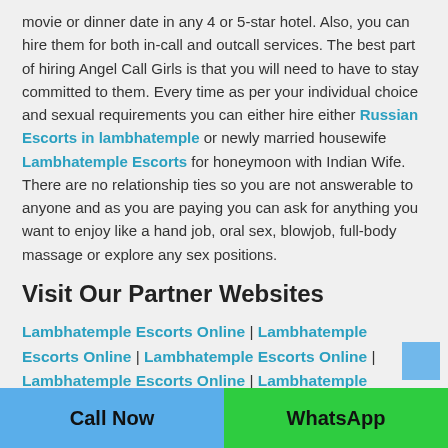movie or dinner date in any 4 or 5-star hotel. Also, you can hire them for both in-call and outcall services. The best part of hiring Angel Call Girls is that you will need to have to stay committed to them. Every time as per your individual choice and sexual requirements you can either hire either Russian Escorts in lambhatemple or newly married housewife Lambhatemple Escorts for honeymoon with Indian Wife. There are no relationship ties so you are not answerable to anyone and as you are paying you can ask for anything you want to enjoy like a hand job, oral sex, blowjob, full-body massage or explore any sex positions.
Visit Our Partner Websites
Lambhatemple Escorts Online | Lambhatemple Escorts Online | Lambhatemple Escorts Online | Lambhatemple Escorts Online | Lambhatemple Escorts Online | Lambhatemple Escorts Online | Lambhatemple Escorts Online | Lambhatemple Escorts Online | Lambhatemple Escorts Online
Call Now | WhatsApp